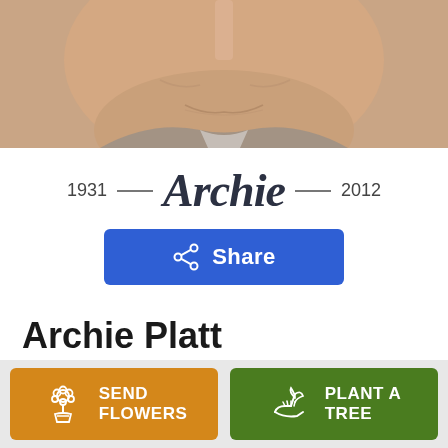[Figure (photo): Cropped close-up photo of an older man's face/chin area, slightly smiling, wearing a grey collared shirt]
1931 — Archie — 2012
Share
Archie Platt
November 22, 1931 — January 26, 2012
SEND FLOWERS
PLANT A TREE